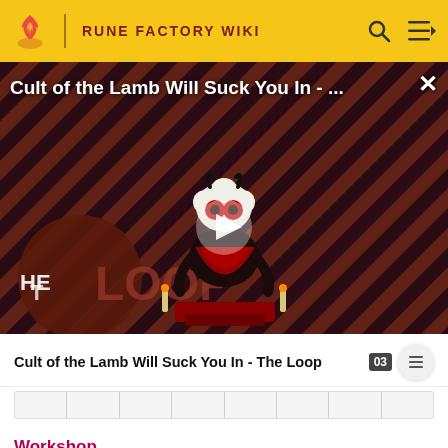RUNE FACTORY WIKI
[Figure (screenshot): Video thumbnail for 'Cult of the Lamb Will Suck You In - The Loop' showing a cartoon lamb character with red eyes on a striped dark red background with 'THE LOOP' text overlaid, a play button in the center, and an X close button in the top right.]
Cult of the Lamb Will Suck You In - The Loop
Workshop